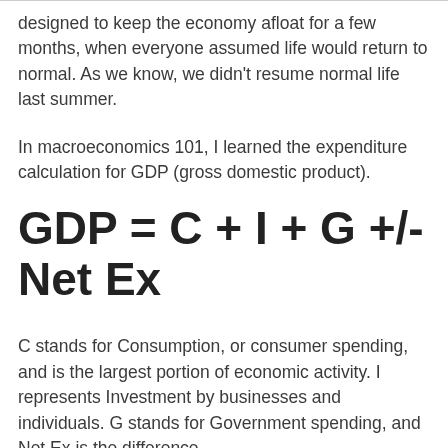designed to keep the economy afloat for a few months, when everyone assumed life would return to normal. As we know, we didn't resume normal life last summer.
In macroeconomics 101, I learned the expenditure calculation for GDP (gross domestic product).
C stands for Consumption, or consumer spending, and is the largest portion of economic activity. I represents Investment by businesses and individuals. G stands for Government spending, and Net Ex is the difference